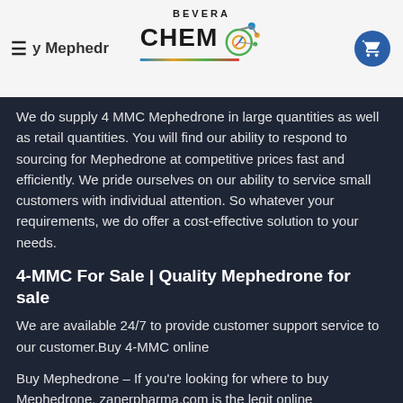≡ y Mephedr  BEVERA CHEMO
We do supply 4 MMC Mephedrone in large quantities as well as retail quantities. You will find our ability to respond to sourcing for Mephedrone at competitive prices fast and efficiently. We pride ourselves on our ability to service small customers with individual attention. So whatever your requirements, we do offer a cost-effective solution to your needs.
4-MMC For Sale | Quality Mephedrone for sale
We are available 24/7 to provide customer support service to our customer.Buy 4-MMC online
Buy Mephedrone  – If you're looking for where to buy Mephedrone, zanerpharma.com is the legit online Mephedrone supplier.